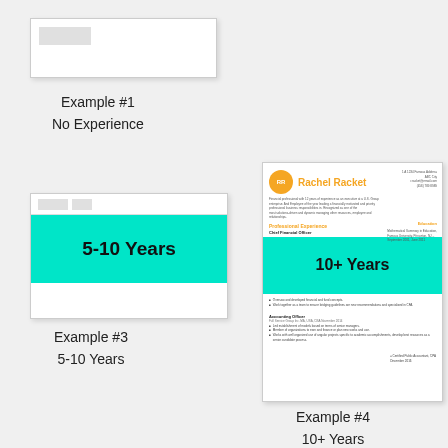[Figure (illustration): Thumbnail of a resume card for Example #1 - No Experience]
Example #1
No Experience
[Figure (illustration): Resume card thumbnail for Example #3 - 5-10 Years, featuring a teal highlight band with text '5-10 Years']
Example #3
5-10 Years
[Figure (illustration): Resume card for Rachel Racket (Example #4) featuring orange header with avatar 'RR', professional experience section, and teal '10+ Years' highlight band]
Example #4
10+ Years